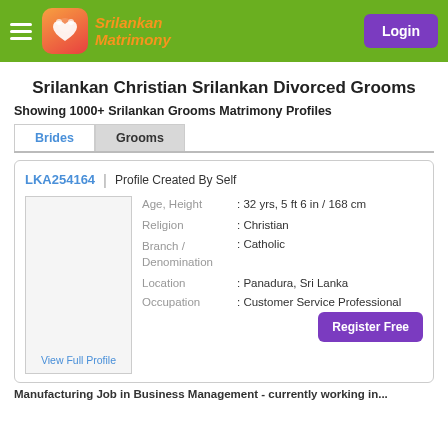[Figure (logo): Srilankan Matrimony logo with orange/red gradient heart icon and orange italic text]
Srilankan Christian Srilankan Divorced Grooms
Showing 1000+ Srilankan Grooms Matrimony Profiles
Brides | Grooms (tabs)
LKA254164 | Profile Created By Self
Age, Height : 32 yrs, 5 ft 6 in / 168 cm
Religion : Christian
Branch / Denomination : Catholic
Location : Panadura, Sri Lanka
Occupation : Customer Service Professional